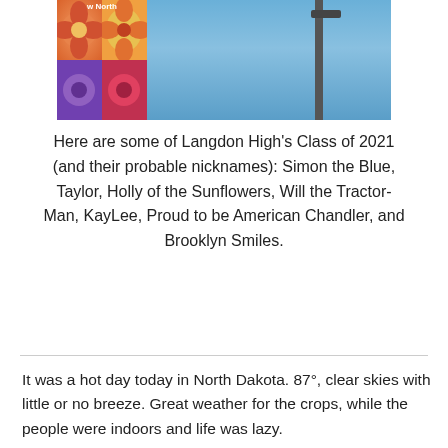[Figure (photo): Top portion of a photo showing a colorful quilt sign on the left (with orange, purple, and red squares) and a street pole/light against a blue sky background. The sign shows partial text 'w North'.]
Here are some of Langdon High's Class of 2021 (and their probable nicknames): Simon the Blue, Taylor, Holly of the Sunflowers, Will the Tractor-Man, KayLee, Proud to be American Chandler, and Brooklyn Smiles.
It was a hot day today in North Dakota. 87°, clear skies with little or no breeze. Great weather for the crops, while the people were indoors and life was lazy.
My next stop, the town of Cando in Towner County, is about 50 miles southwest of Langdon. The county courthouse is a three-story yellow brick structure